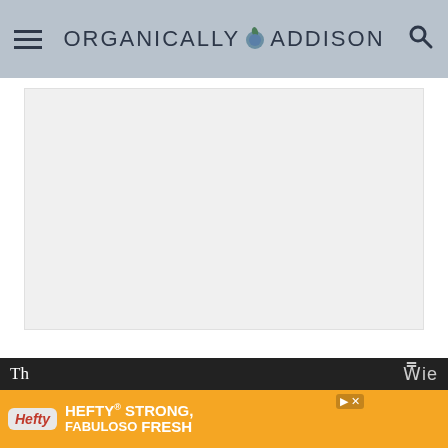ORGANICALLY ADDISON
[Figure (photo): Large white/light gray rectangular image placeholder area]
Garlic powder, sea salt and black pepper add some flavor. These flavors are not overpowering, but just subtle enough.
[Figure (infographic): Advertisement bar: Hefty STRONG, FABULOSO FRESH]